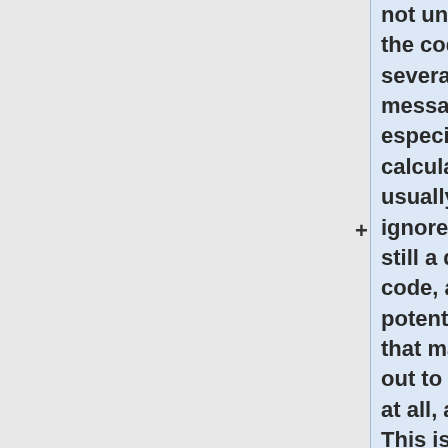not uncommon that the code prints several warning messages, especially in burnup calculation, and usually they can be ignored. Serpent is still a developing code, and several potential problems, that may not turn out to be problems at all, are checked. This is especially the case when the